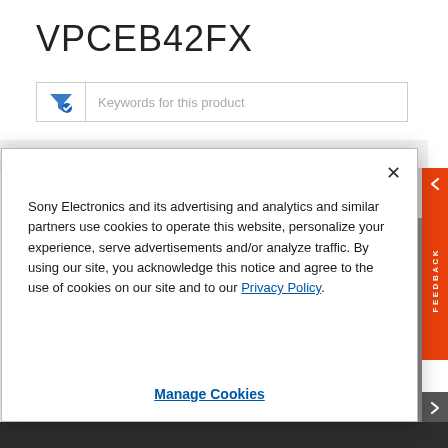VPCEB42FX
[Figure (screenshot): Search box with filter icon and placeholder text 'Keywords for this product']
[Figure (screenshot): Sony website header bar with Sony logo]
Sony Electronics and its advertising and analytics and similar partners use cookies to operate this website, personalize your experience, serve advertisements and/or analyze traffic. By using our site, you acknowledge this notice and agree to the use of cookies on our site and to our Privacy Policy.
Manage Cookies